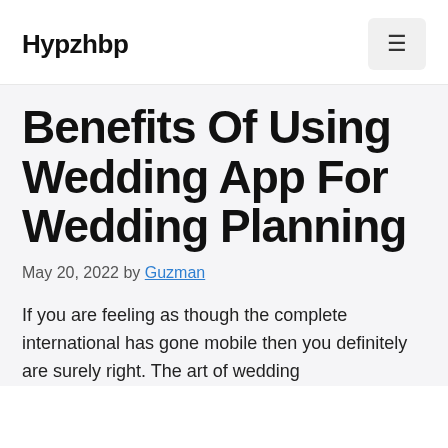Hypzhbp
Benefits Of Using Wedding App For Wedding Planning
May 20, 2022 by Guzman
If you are feeling as though the complete international has gone mobile then you definitely are surely right. The art of wedding